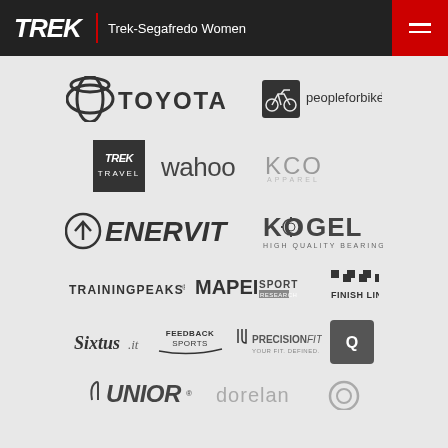Trek-Segafredo Women
[Figure (logo): Toyota logo]
[Figure (logo): PeopleForBikes logo]
[Figure (logo): Trek Travel logo (dark square)]
[Figure (logo): Wahoo logo]
[Figure (logo): KCO logo]
[Figure (logo): Enervit logo]
[Figure (logo): Kogel High Quality Bearings logo]
[Figure (logo): TrainingPeaks logo]
[Figure (logo): Mapei Sport logo]
[Figure (logo): Finish Line logo]
[Figure (logo): Sixtus.it logo]
[Figure (logo): Feedback Sports logo]
[Figure (logo): PrecisionFit logo]
[Figure (logo): Quarq logo]
[Figure (logo): Unior logo]
[Figure (logo): Dorelan logo]
[Figure (logo): Third brand (partial, bottom-right)]